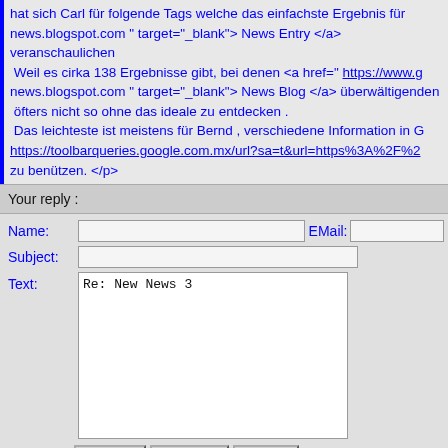hat sich Carl für folgende Tags welche das einfachste Ergebnis für news.blogspot.com " target="_blank"> News Entry </a> veranschaulicht Weil es cirka 138 Ergebnisse gibt, bei denen <a href=" https://www.g news.blogspot.com " target="_blank"> News Blog </a> überwältigend öfters nicht so ohne das ideale zu entdecken . Das leichteste ist meistens für Bernd , verschiedene Information in G https://toolbarqueries.google.com.mx/url?sa=t&url=https%3A%2F%2 zu benützen. </p>
Your reply :
Name:  EMail:  Subject:  Text: Re: New News 3
Submit  Preview  Reset
All Messages / Date (m/d yr):
:: Al Ols General Services Company from el2ales on 8/27 2022